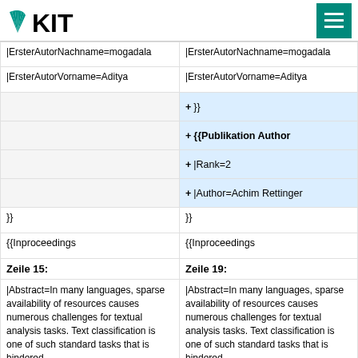KIT logo and navigation menu
| Left | Right |
| --- | --- |
| |ErsterAutorNachname=mogadala | |ErsterAutorNachname=mogadala |
| |ErsterAutorVorname=Aditya | |ErsterAutorVorname=Aditya |
|  | + }} |
|  | + {{Publikation Author |
|  | + |Rank=2 |
|  | + |Author=Achim Rettinger |
| }} | }} |
| {{Inproceedings | {{Inproceedings |
Zeile 15:
Zeile 19:
|Abstract=In many languages, sparse availability of resources causes numerous challenges for textual analysis tasks. Text classification is one of such standard tasks that is hindered
|Abstract=In many languages, sparse availability of resources causes numerous challenges for textual analysis tasks. Text classification is one of such standard tasks that is hindered